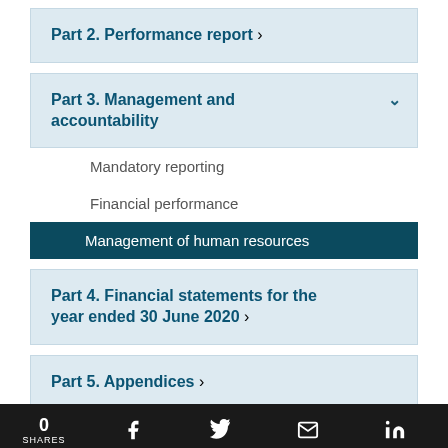Part 2. Performance report
Part 3. Management and accountability
Mandatory reporting
Financial performance
Management of human resources
Part 4. Financial statements for the year ended 30 June 2020
Part 5. Appendices
0 SHARES